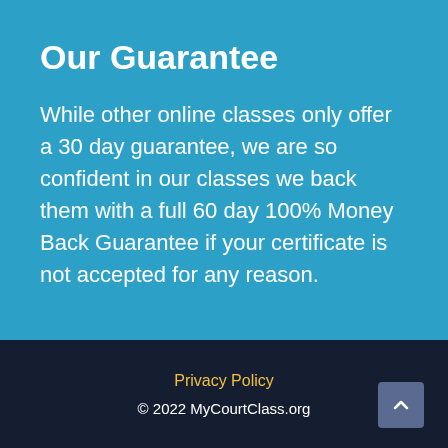Our Guarantee
While other online classes only offer a 30 day guarantee, we are so confident in our classes we back them with a full 60 day 100% Money Back Guarantee if your certificate is not accepted for any reason.
Privacy Policy
© 2022 MyCourtClass.org